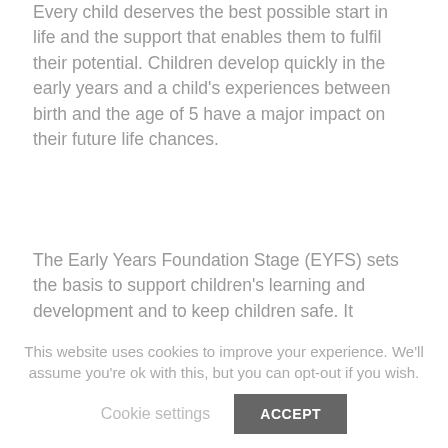Every child deserves the best possible start in life and the support that enables them to fulfil their potential. Children develop quickly in the early years and a child's experiences between birth and the age of 5 have a major impact on their future life chances.
The Early Years Foundation Stage (EYFS) sets the basis to support children's learning and development and to keep children safe. It promotes teaching and learning to ensure children's 'school readiness' and gives children the broad range of knowledge and skills that provide t right foundation for good future progress through school life.
There are 7 areas of learning and development that
This website uses cookies to improve your experience. We'll assume you're ok with this, but you can opt-out if you wish.